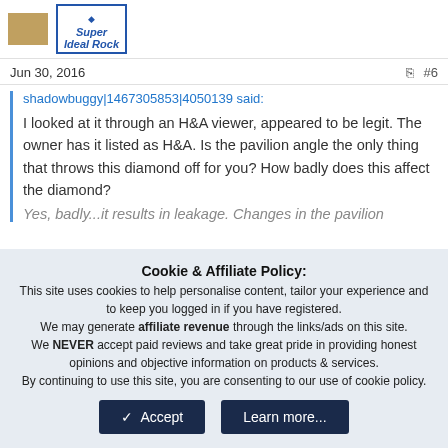[Figure (logo): Super Ideal Rock logo with diamond icon, blue border box]
Jun 30, 2016  #6
shadowbuggy|1467305853|4050139 said:

I looked at it through an H&A viewer, appeared to be legit. The owner has it listed as H&A. Is the pavilion angle the only thing that throws this diamond off for you? How badly does this affect the diamond?

Yes, badly...it results in leakage. Changes in the pavilion
Cookie & Affiliate Policy:
This site uses cookies to help personalise content, tailor your experience and to keep you logged in if you have registered.
We may generate affiliate revenue through the links/ads on this site.
We NEVER accept paid reviews and take great pride in providing honest opinions and objective information on products & services.
By continuing to use this site, you are consenting to our use of cookie policy.